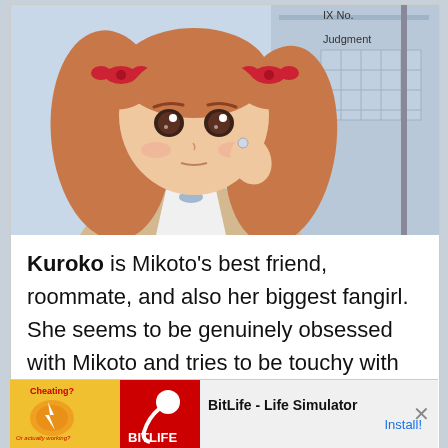[Figure (illustration): Anime character with reddish-brown twin-tail hair with red bow accessories, wearing a beige cardigan and white collar shirt, holding something small near her face. Background shows a building with 'Judgment' text and grid windows. The character appears to be from the anime 'A Certain Scientific Railgun'.]
Kuroko is Mikoto's best friend, roommate, and also her biggest fangirl. She seems to be genuinely obsessed with Mikoto and tries to be touchy with her which resorts to her being electrocuted by Mikoto quite often. Those scenes serve as comedic relief, though. Kuroko dee...
[Figure (other): Ad banner: 'Cheating?' ad on left with muscle/lightning icon, BitLife - Life Simulator app advertisement with red background and sperm logo, Install button in blue.]